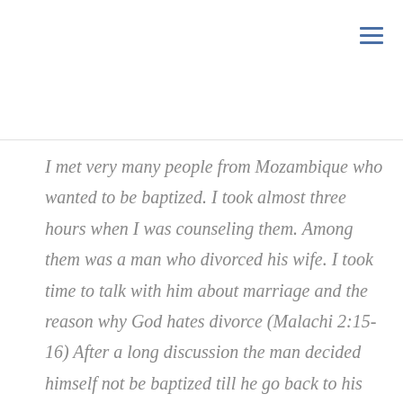I met very many people from Mozambique who wanted to be baptized. I took almost three hours when I was counseling them. Among them was a man who divorced his wife. I took time to talk with him about marriage and the reason why God hates divorce (Malachi 2:15-16) After a long discussion the man decided himself not be baptized till he go back to his wife and talk with her. He said that he is going to take Mulozowa and Matiya to the lady's home so that they can talk with her deeply about